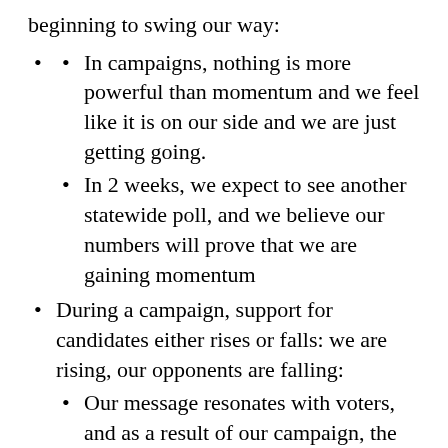beginning to swing our way:
In campaigns, nothing is more powerful than momentum and we feel like it is on our side and we are just getting going.
In 2 weeks, we expect to see another statewide poll, and we believe our numbers will prove that we are gaining momentum
During a campaign, support for candidates either rises or falls: we are rising, our opponents are falling:
Our message resonates with voters, and as a result of our campaign, the Republican and Democratic candidates have seen their support decline.
We have gone from 0% to 8% – Neal had